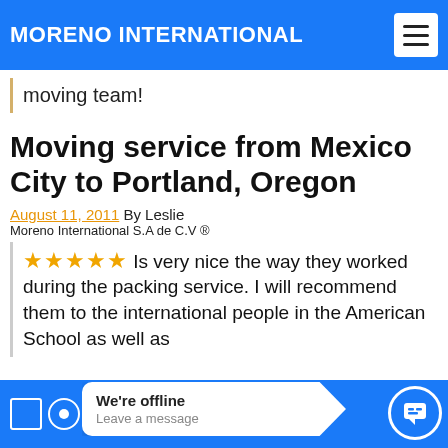MORENO INTERNATIONAL
moving team!
Moving service from Mexico City to Portland, Oregon
August 11, 2011 By Leslie
Moreno International S.A de C.V ®
★★★★★ Is very nice the way they worked during the packing service. I will recommend them to the international people in the American School as well as
We're offline
Leave a message